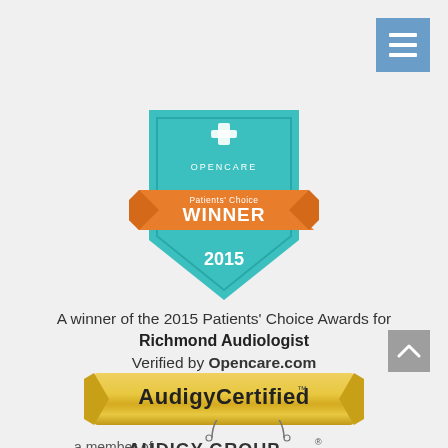[Figure (logo): Hamburger menu icon button, blue background with three white horizontal lines]
[Figure (logo): Opencare Patients' Choice Winner 2015 badge - teal shield shape with orange ribbon banner reading WINNER and cross symbol, year 2015 at bottom]
A winner of the 2015 Patients' Choice Awards for
Richmond Audiologist
Verified by Opencare.com
[Figure (logo): AudigyCertified gold ribbon/banner logo with stylized text]
[Figure (logo): a member of AUDIGY GROUP logo with circular arc above text]
[Figure (logo): Scroll to top button - grey square with upward chevron]